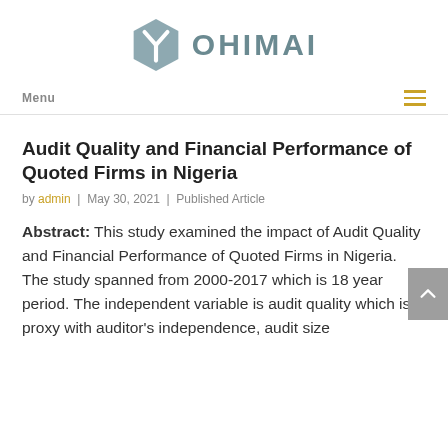[Figure (logo): OHIMAI logo with a hexagonal box icon in slate blue/teal and the text OHIMAI in bold grey-blue letters]
Menu
Audit Quality and Financial Performance of Quoted Firms in Nigeria
by admin | May 30, 2021 | Published Article
Abstract: This study examined the impact of Audit Quality and Financial Performance of Quoted Firms in Nigeria. The study spanned from 2000-2017 which is 18 year period. The independent variable is audit quality which is proxy with auditor's independence, audit size